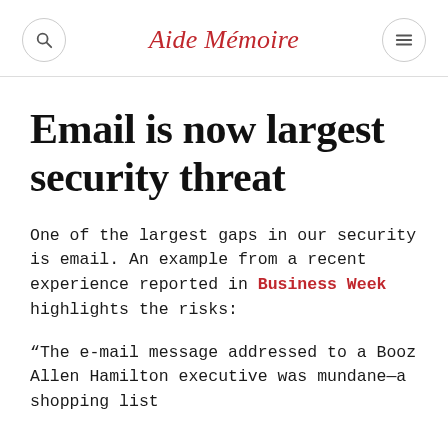Aide Mémoire
Email is now largest security threat
One of the largest gaps in our security is email. An example from a recent experience reported in Business Week highlights the risks:
“The e-mail message addressed to a Booz Allen Hamilton executive was mundane—a shopping list